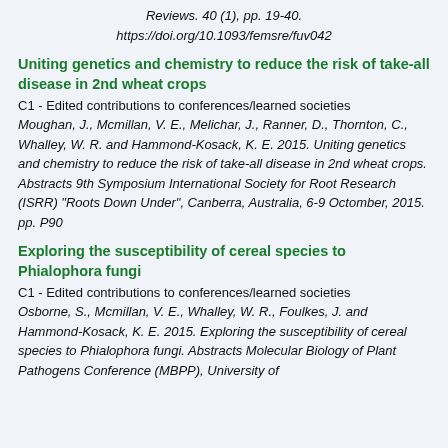Reviews. 40 (1), pp. 19-40.
https://doi.org/10.1093/femsre/fuv042
Uniting genetics and chemistry to reduce the risk of take-all disease in 2nd wheat crops
C1 - Edited contributions to conferences/learned societies
Moughan, J., Mcmillan, V. E., Melichar, J., Ranner, D., Thornton, C., Whalley, W. R. and Hammond-Kosack, K. E. 2015. Uniting genetics and chemistry to reduce the risk of take-all disease in 2nd wheat crops. Abstracts 9th Symposium International Society for Root Research (ISRR) "Roots Down Under", Canberra, Australia, 6-9 Octomber, 2015. pp. P90
Exploring the susceptibility of cereal species to Phialophora fungi
C1 - Edited contributions to conferences/learned societies
Osborne, S., Mcmillan, V. E., Whalley, W. R., Foulkes, J. and Hammond-Kosack, K. E. 2015. Exploring the susceptibility of cereal species to Phialophora fungi. Abstracts Molecular Biology of Plant Pathogens Conference (MBPP), University of